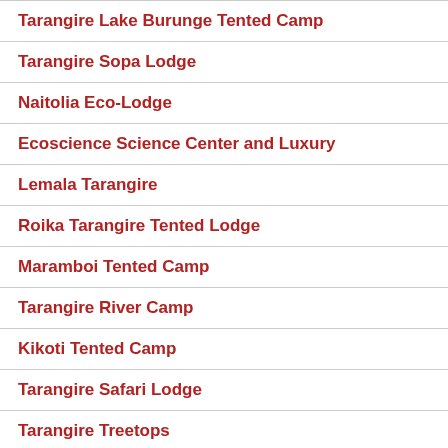Tarangire Lake Burunge Tented Camp
Tarangire Sopa Lodge
Naitolia Eco-Lodge
Ecoscience Science Center and Luxury
Lemala Tarangire
Roika Tarangire Tented Lodge
Maramboi Tented Camp
Tarangire River Camp
Kikoti Tented Camp
Tarangire Safari Lodge
Tarangire Treetops